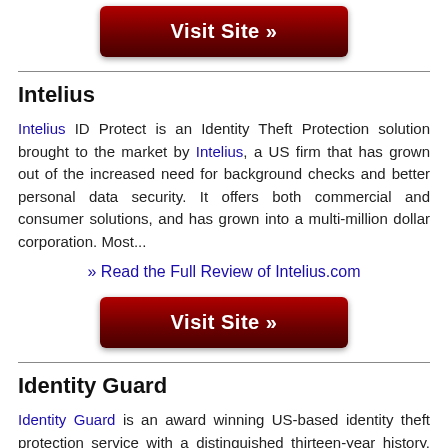[Figure (other): Red 'Visit Site »' button at top of page]
Intelius
Intelius ID Protect is an Identity Theft Protection solution brought to the market by Intelius, a US firm that has grown out of the increased need for background checks and better personal data security. It offers both commercial and consumer solutions, and has grown into a multi-million dollar corporation. Most...
» Read the Full Review of Intelius.com
[Figure (other): Red 'Visit Site »' button in middle of page]
Identity Guard
Identity Guard is an award winning US-based identity theft protection service with a distinguished thirteen-year history. With